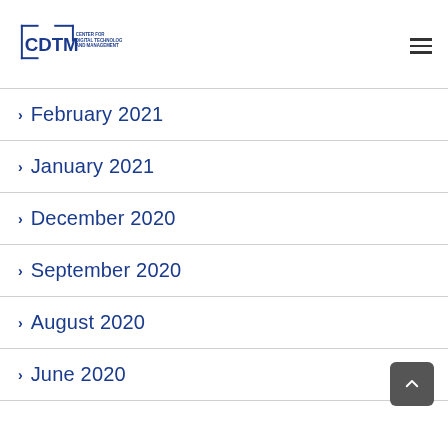CDTM – CENTER FOR DIGITAL TECHNOLOGY AND MANAGEMENT
February 2021
January 2021
December 2020
September 2020
August 2020
June 2020